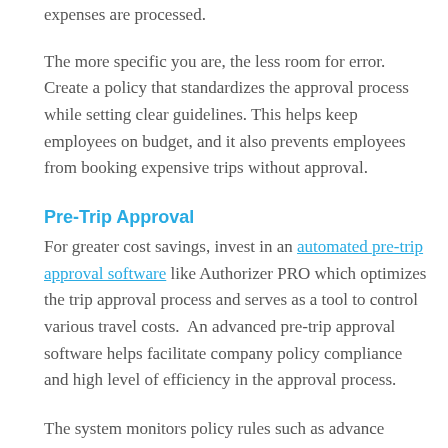expenses are processed.
The more specific you are, the less room for error. Create a policy that standardizes the approval process while setting clear guidelines. This helps keep employees on budget, and it also prevents employees from booking expensive trips without approval.
Pre-Trip Approval
For greater cost savings, invest in an automated pre-trip approval software like Authorizer PRO which optimizes the trip approval process and serves as a tool to control various travel costs.  An advanced pre-trip approval software helps facilitate company policy compliance and high level of efficiency in the approval process.
The system monitors policy rules such as advance purchase, air, hotel and car rates, preferred vendor